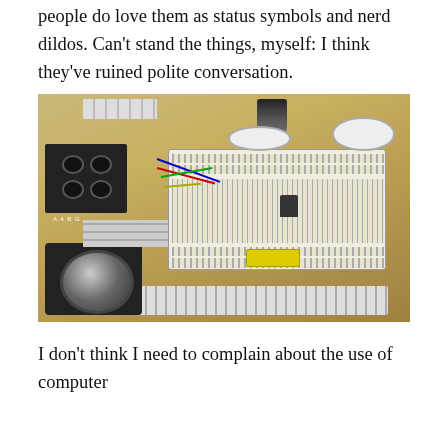people do love them as status symbols and nerd dildos. Can't stand the things, myself: I think they've ruined polite conversation.
[Figure (photo): A wooden board with electronic components including a breadboard with colored wires, vacuum tube, terminal blocks, a large rotary knob, capacitors, and various connectors mounted on it.]
I don't think I need to complain about the use of computer